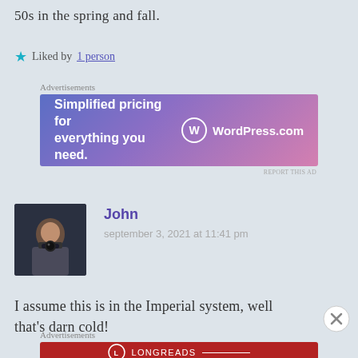50s in the spring and fall.
★ Liked by 1 person
Advertisements
[Figure (other): WordPress.com advertisement banner with gradient blue-pink background. Text: 'Simplified pricing for everything you need.' with WordPress.com logo.]
John
september 3, 2021 at 11:41 pm
[Figure (photo): Avatar photo of a man holding a camera up to his face, photographing, dark background.]
I assume this is in the Imperial system, well that's darn cold!
Advertisements
[Figure (other): Longreads advertisement banner with dark red background. Text: 'The best stories on the web — ours, and everyone else's.']